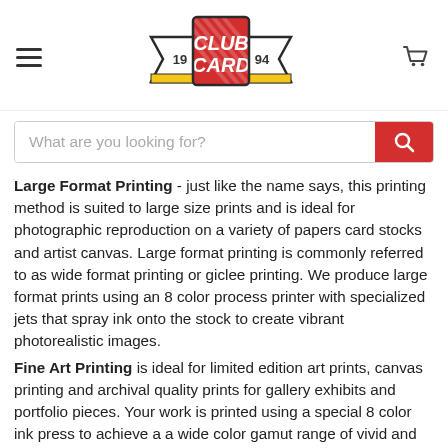[Figure (logo): Club Card Printing logo — red square badge with CLUB CARD text, flanked by ribbon banners showing 19 and 94]
Large Format Printing - just like the name says, this printing method is suited to large size prints and is ideal for photographic reproduction on a variety of papers card stocks and artist canvas. Large format printing is commonly referred to as wide format printing or giclee printing. We produce large format prints using an 8 color process printer with specialized jets that spray ink onto the stock to create vibrant photorealistic images.
Fine Art Printing is ideal for limited edition art prints, canvas printing and archival quality prints for gallery exhibits and portfolio pieces. Your work is printed using a special 8 color ink press to achieve a a wide color gamut range of vivid and vibrant colors. Clubcard offers a variety of archival art paper stocks and